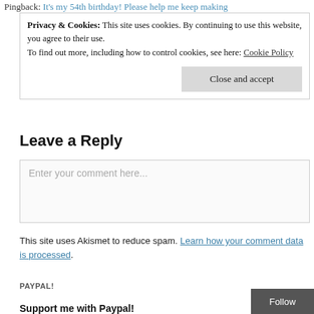Pingback: It's my 54th birthday! Please help me keep making
Privacy & Cookies: This site uses cookies. By continuing to use this website, you agree to their use.
To find out more, including how to control cookies, see here: Cookie Policy
Close and accept
Leave a Reply
Enter your comment here...
This site uses Akismet to reduce spam. Learn how your comment data is processed.
PAYPAL!
Support me with Paypal!
Follow